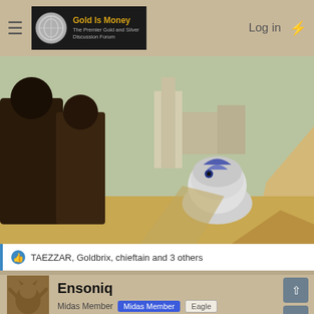Gold Is Money — The Premier Gold and Silver Discussion Forum | Log in
[Figure (photo): A scene from Star Wars showing two figures in robes standing on a rocky hillside overlooking a city landscape, with R2-D2 beside them.]
TAEZZAR, Goldbrix, chieftain and 3 others
Ensoniq
Midas Member  Midas Member  Eagle